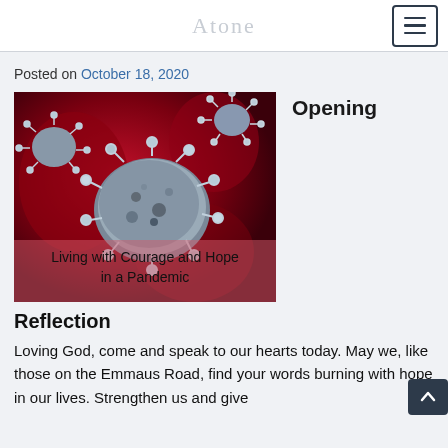Atone
Posted on October 18, 2020
[Figure (photo): Close-up microscopic illustration of coronavirus particles in red and silver/blue tones, with text overlay reading 'Living with Courage and Hope in a Pandemic']
Opening
Reflection
Loving God, come and speak to our hearts today. May we, like those on the Emmaus Road, find your words burning with hope in our lives. Strengthen us and give